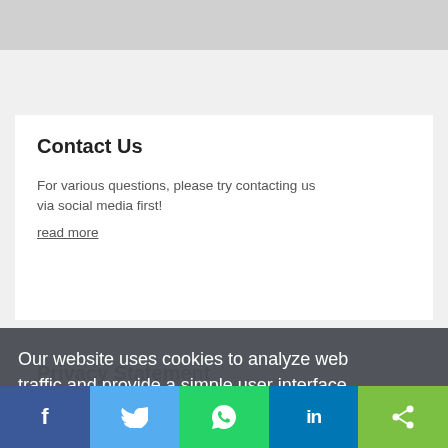Contact Us
For various questions, please try contacting us via social media first!
read more
Privacy Statement
We take data privacy seriously and adhere to all
Our website uses cookies to analyze web traffic and provide a simple user interface.
Learn more
Got it!
Copyright © cookies...
[Figure (infographic): Social media share bar with Facebook, Twitter, WhatsApp, LinkedIn, and share icons]